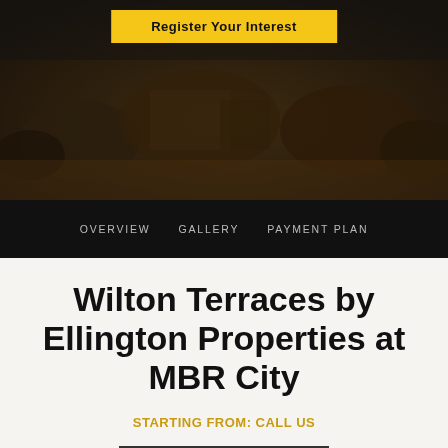[Figure (photo): Aerial/landscape hero photo of a property development surrounded by palm trees and lush greenery, dark toned, with a yellow 'Register Your Interest' button overlaid at the top center]
Register Your Interest
OVERVIEW   GALLERY   PAYMENT PLAN
Wilton Terraces by Ellington Properties at MBR City
STARTING FROM: CALL US
Download Brochure